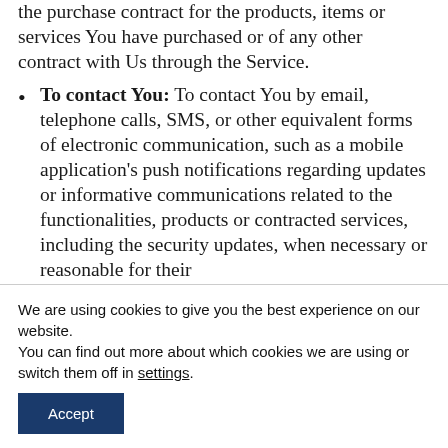the purchase contract for the products, items or services You have purchased or of any other contract with Us through the Service.
To contact You: To contact You by email, telephone calls, SMS, or other equivalent forms of electronic communication, such as a mobile application's push notifications regarding updates or informative communications related to the functionalities, products or contracted services, including the security updates, when necessary or reasonable for their
We are using cookies to give you the best experience on our website.
You can find out more about which cookies we are using or switch them off in settings.
Accept